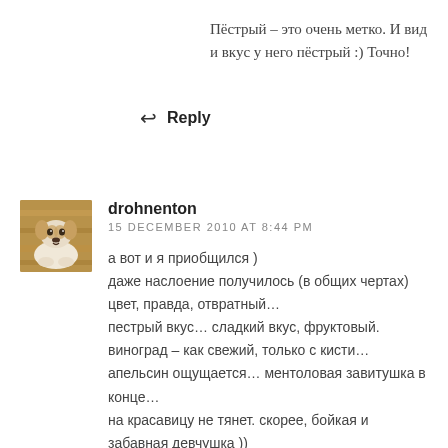Пёстрый – это очень метко. И вид и вкус у него пёстрый :) Точно!
↩ Reply
[Figure (photo): Avatar photo of a small dog (puppy) lying on a blanket]
drohnenton
15 DECEMBER 2010 AT 8:44 PM
а вот и я приобщился )
даже наслоение получилось (в общих чертах)
цвет, правда, отвратный…
пестрый вкус… сладкий вкус, фруктовый.
виноград – как свежий, только с кисти…
апельсин ощущается… ментоловая завитушка в конце…
на красавицу не тянет. скорее, бойкая и забавная девчушка ))